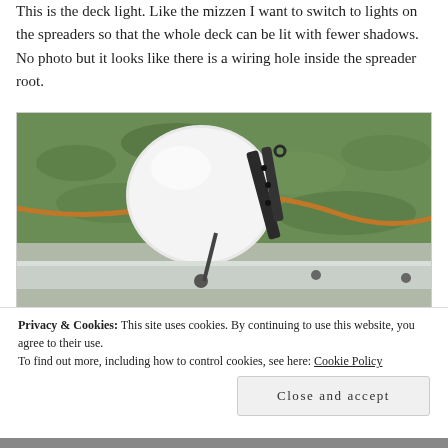This is the deck light. Like the mizzen I want to switch to lights on the spreaders so that the whole deck can be lit with fewer shadows. No photo but it looks like there is a wiring hole inside the spreader root.
[Figure (photo): Close-up photo of a white dome-shaped deck light fitting sitting on a spreader root, with a black metal bracket/mount visible, set against a grassy background.]
Privacy & Cookies: This site uses cookies. By continuing to use this website, you agree to their use.
To find out more, including how to control cookies, see here: Cookie Policy
Close and accept